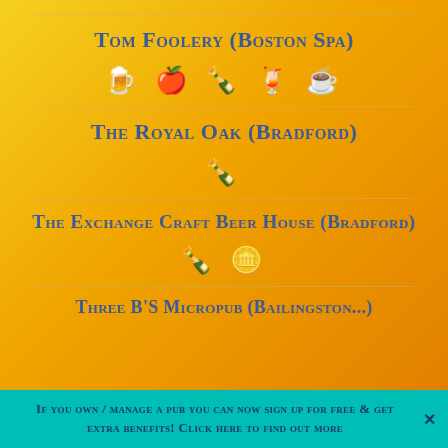Tom Foolery (Boston Spa)
[Figure (infographic): Row of yellow icons: beer mug, apple, bottle, cocktail glass, coffee cup]
The Royal Oak (Bradford)
[Figure (infographic): Single yellow bottle icon]
The Exchange Craft Beer House (Bradford)
[Figure (infographic): Two yellow icons: bottle and coin/badge]
Three B'S Micropub (Bailingston...)
If you own / manage a pub you can now sign up for free & get extra benefits! Click here to find out more